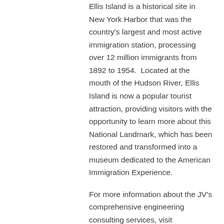Ellis Island is a historical site in New York Harbor that was the country's largest and most active immigration station, processing over 12 million immigrants from 1892 to 1954.  Located at the mouth of the Hudson River, Ellis Island is now a popular tourist attraction, providing visitors with the opportunity to learn more about this National Landmark, which has been restored and transformed into a museum dedicated to the American Immigration Experience.
For more information about the JV's comprehensive engineering consulting services, visit www.yerkessouthh2hjv.com.